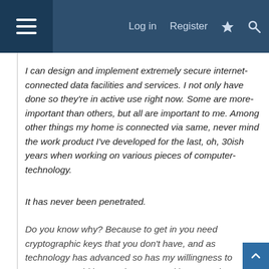Log in  Register
I can design and implement extremely secure internet-connected data facilities and services. I not only have done so they're in active use right now. Some are more-important than others, but all are important to me. Among other things my home is connected via same, never mind the work product I've developed for the last, oh, 30ish years when working on various pieces of computer-technology.
It has never been penetrated.
Do you know why? Because to get in you need cryptographic keys that you don't have, and as technology has advanced so has my willingness to regenerate said keys to keep step with same, along with taking proper security precautions with the necessary components to issue said credentials